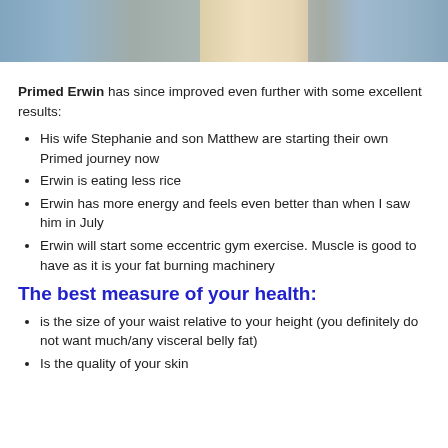[Figure (photo): Cropped photo strip showing people, partially visible at top of page]
Primed Erwin has since improved even further with some excellent results:
His wife Stephanie and son Matthew are starting their own Primed journey now
Erwin is eating less rice
Erwin has more energy and feels even better than when I saw him in July
Erwin will start some eccentric gym exercise. Muscle is good to have as it is your fat burning machinery
The best measure of your health:
is the size of your waist relative to your height (you definitely do not want much/any visceral belly fat)
Is the quality of your skin